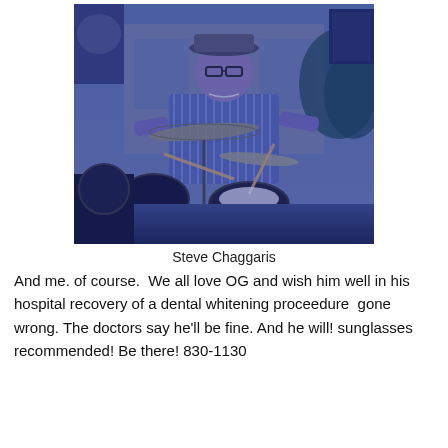[Figure (photo): A man wearing a hat and glasses playing drums at an outdoor event, lit with blue lighting. He is wearing a blue and white striped short-sleeve shirt. Cymbals and drum kit visible in foreground.]
Steve Chaggaris
And me. of course. We all love OG and wish him well in his hospital recovery of a dental whitening proceedure gone wrong. The doctors say he'll be fine. And he will! sunglasses recommended! Be there! 830-1130